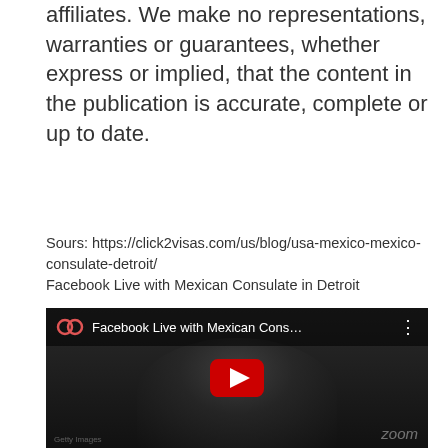affiliates. We make no representations, warranties or guarantees, whether express or implied, that the content in the publication is accurate, complete or up to date.
Sours: https://click2visas.com/us/blog/usa-mexico-mexico-consulate-detroit/
Facebook Live with Mexican Consulate in Detroit
[Figure (screenshot): YouTube/video embed screenshot showing 'Facebook Live with Mexican Cons...' with a dark background, a person visible, a red YouTube play button in the center, and a 'zoom' watermark in the bottom right.]